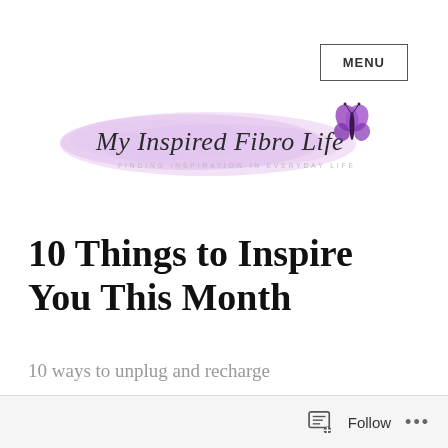MENU
[Figure (logo): My Inspired Fibro Life blog logo with purple watercolor brush stroke background, cursive script text reading 'My Inspired Fibro Life', tagline 'FINDING INSPIRATION IN EVERYDAY LIFE', and purple butterfly icon]
10 Things to Inspire You This Month
10 ways to unplug and recharge
Follow ...